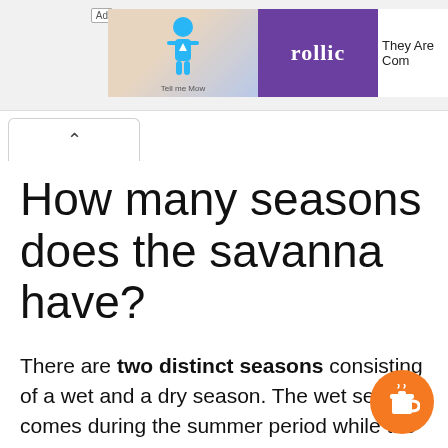[Figure (screenshot): Advertisement banner at top of page showing a mobile game ad with 'rollic' branding and text 'They Are Com...']
How many seasons does the savanna have?
There are two distinct seasons consisting of a wet and a dry season. The wet season comes during the summer period while the dry season comes during the winter.
How much sunlight